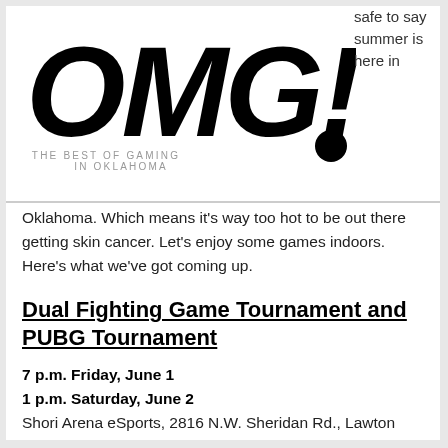[Figure (logo): OMG! The Best of Gaming in Oklahoma logo — large bold italic black text 'OMG!' with tagline 'THE BEST OF GAMING IN OKLAHOMA' below]
safe to say summer is here in
Oklahoma. Which means it's way too hot to be out there getting skin cancer. Let's enjoy some games indoors. Here's what we've got coming up.
Dual Fighting Game Tournament and PUBG Tournament
7 p.m. Friday, June 1
1 p.m. Saturday, June 2
Shori Arena eSports, 2816 N.W. Sheridan Rd., Lawton